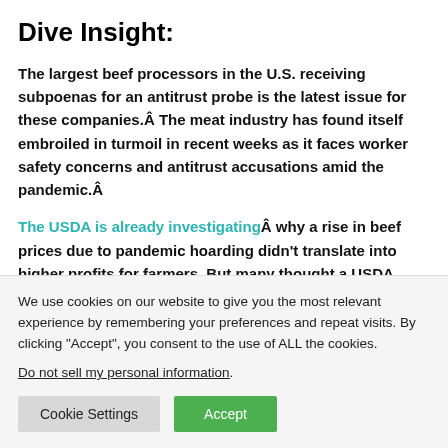Dive Insight:
The largest beef processors in the U.S. receiving subpoenas for an antitrust probe is the latest issue for these companies.Â The meat industry has found itself embroiled in turmoil in recent weeks as it faces worker safety concerns and antitrust accusations amid the pandemic.Â
The USDA is already investigatingÂ why a rise in beef prices due to pandemic hoarding didn’t translate into higher profits for farmers. But many thought a USDA probe wasn’t
We use cookies on our website to give you the most relevant experience by remembering your preferences and repeat visits. By clicking “Accept”, you consent to the use of ALL the cookies.
Do not sell my personal information.